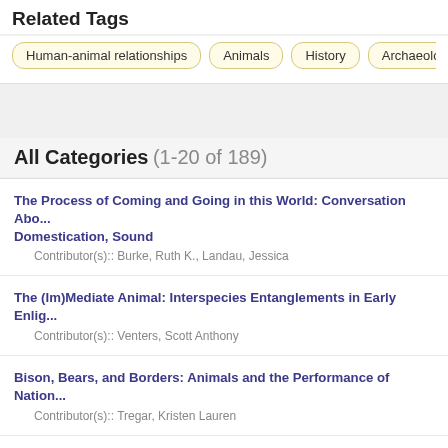Related Tags
Human-animal relationships | Animals | History | Archaeology | A…
All Categories (1-20 of 189)
The Process of Coming and Going in this World: Conversation Abo... Domestication, Sound
Contributor(s):: Burke, Ruth K., Landau, Jessica
The (Im)Mediate Animal: Interspecies Entanglements in Early Enlig…
Contributor(s):: Venters, Scott Anthony
Bison, Bears, and Borders: Animals and the Performance of Nation…
Contributor(s):: Tregar, Kristen Lauren
La Mujer en la Frontera de lo Humano: Personajes Femeninos Limi…
Contributor(s):: Gallego Zorroso, Alicia